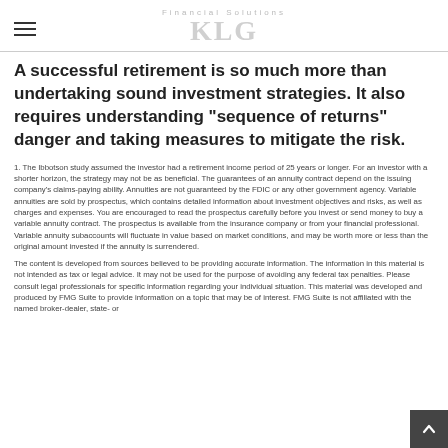KLG Financial Solutions
A successful retirement is so much more than undertaking sound investment strategies. It also requires understanding "sequence of returns" danger and taking measures to mitigate the risk.
1. The Ibbotson study assumed the investor had a retirement income period of 25 years or longer. For an investor with a shorter horizon, the strategy may not be as beneficial. The guarantees of an annuity contract depend on the issuing company's claims-paying ability. Annuities are not guaranteed by the FDIC or any other government agency. Variable annuities are sold by prospectus, which contains detailed information about investment objectives and risks, as well as charges and expenses. You are encouraged to read the prospectus carefully before you invest or send money to buy a variable annuity contract. The prospectus is available from the insurance company or from your financial professional. Variable annuity subaccounts will fluctuate in value based on market conditions, and may be worth more or less than the original amount invested if the annuity is surrendered.
The content is developed from sources believed to be providing accurate information. The information in this material is not intended as tax or legal advice. It may not be used for the purpose of avoiding any federal tax penalties. Please consult legal professionals for specific information regarding your individual situation. This material was developed and produced by FMG Suite to provide information on a topic that may be of interest. FMG Suite is not affiliated with the named broker-dealer, state- or